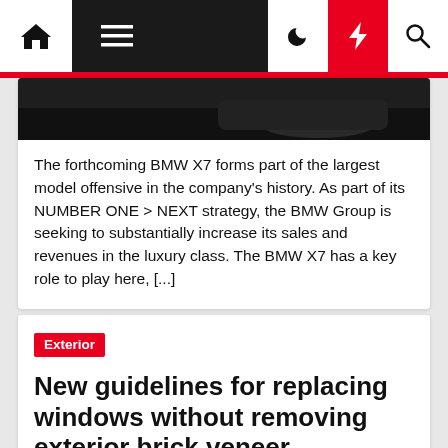Navigation bar with home, menu, moon, bolt, and search icons
[Figure (photo): Partial image of a dark BMW X7 vehicle]
The forthcoming BMW X7 forms part of the largest model offensive in the company's history. As part of its NUMBER ONE > NEXT strategy, the BMW Group is seeking to substantially increase its sales and revenues in the luxury class. The BMW X7 has a key role to play here, [...]
Exterior
New guidelines for replacing windows without removing exterior brick veneer